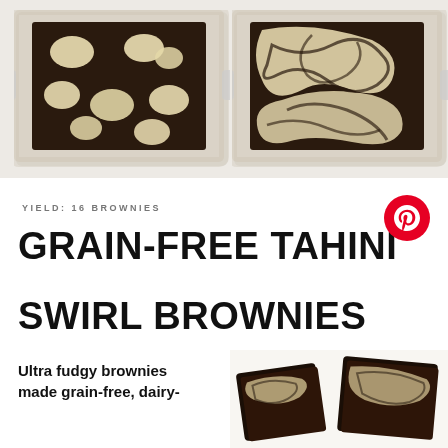[Figure (photo): Top-down view of a glass baking pan with chocolate brownie batter dotted with round blobs of tahini (cream-colored)]
[Figure (photo): Top-down view of a glass baking pan with chocolate brownie batter swirled with tahini in decorative cream-colored swirl patterns]
YIELD: 16 BROWNIES
GRAIN-FREE TAHINI SWIRL BROWNIES
Ultra fudgy brownies made grain-free, dairy-
[Figure (photo): Close-up of two tahini swirl brownies stacked, showing fudgy chocolate interior with tahini swirl on top]